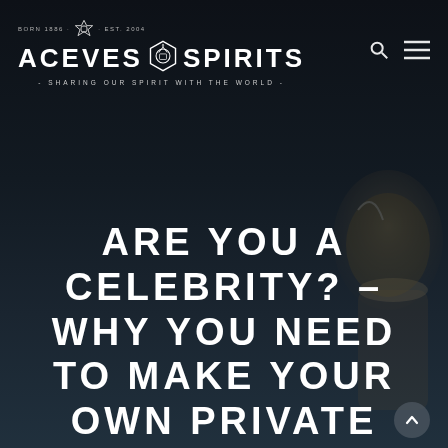[Figure (logo): Aceves Spirits logo with emblem, text 'ACEVES SPIRITS' and tagline '- SHARING OUR SPIRIT WITH THE WORLD -', with 'BORN 1886' and 'EST. 2004' above the emblem]
[Figure (illustration): Dark moody background with a partially visible glass/bottle of tequila on the right side of the image]
ARE YOU A CELEBRITY? – WHY YOU NEED TO MAKE YOUR OWN PRIVATE LABEL TEQUILA